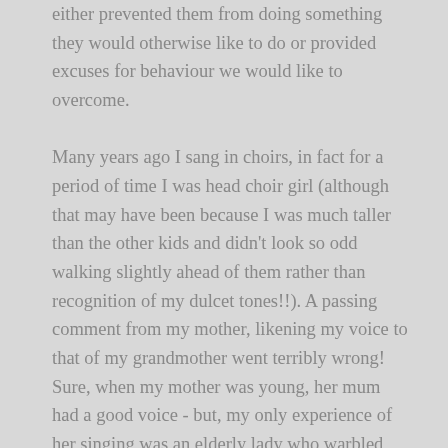either prevented them from doing something they would otherwise like to do or provided excuses for behaviour we would like to overcome.

Many years ago I sang in choirs, in fact for a period of time I was head choir girl (although that may have been because I was much taller than the other kids and didn't look so odd walking slightly ahead of them rather than recognition of my dulcet tones!!). A passing comment from my mother, likening my voice to that of my grandmother went terribly wrong! Sure, when my mother was young, her mum had a good voice - but, my only experience of her singing was an elderly lady who warbled happily out of tune. As